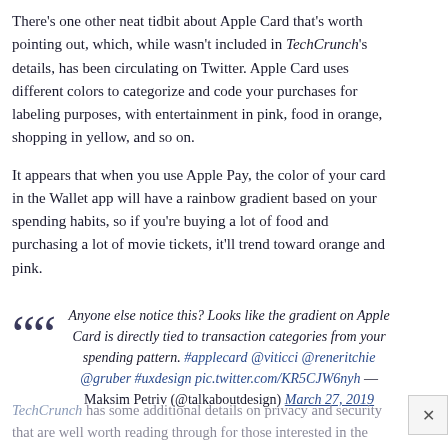There's one other neat tidbit about Apple Card that's worth pointing out, which, while wasn't included in TechCrunch's details, has been circulating on Twitter. Apple Card uses different colors to categorize and code your purchases for labeling purposes, with entertainment in pink, food in orange, shopping in yellow, and so on.
It appears that when you use Apple Pay, the color of your card in the Wallet app will have a rainbow gradient based on your spending habits, so if you're buying a lot of food and purchasing a lot of movie tickets, it'll trend toward orange and pink.
Anyone else notice this? Looks like the gradient on Apple Card is directly tied to transaction categories from your spending pattern. #applecard @viticci @reneritchie @gruber #uxdesign pic.twitter.com/KR5CJW6nyh — Maksim Petriv (@talkaboutdesign) March 27, 2019
TechCrunch has some additional details on privacy and security that are well worth reading through for those interested in the Apple Card, and our own Apple Card guide also has more...